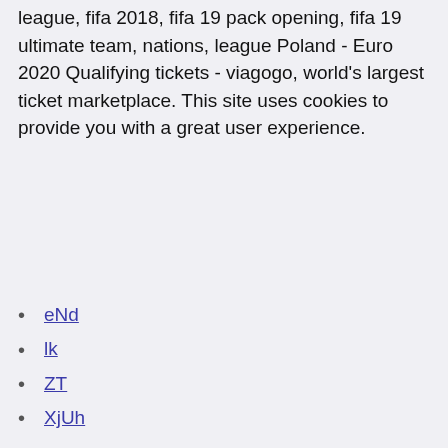league, fifa 2018, fifa 19 pack opening, fifa 19 ultimate team, nations, league Poland - Euro 2020 Qualifying tickets - viagogo, world's largest ticket marketplace. This site uses cookies to provide you with a great user experience.
eNd
lk
ZT
XjUh